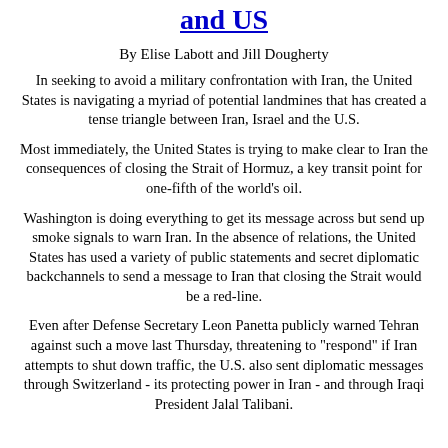and US
By Elise Labott and Jill Dougherty
In seeking to avoid a military confrontation with Iran, the United States is navigating a myriad of potential landmines that has created a tense triangle between Iran, Israel and the U.S.
Most immediately, the United States is trying to make clear to Iran the consequences of closing the Strait of Hormuz, a key transit point for one-fifth of the world's oil.
Washington is doing everything to get its message across but send up smoke signals to warn Iran. In the absence of relations, the United States has used a variety of public statements and secret diplomatic backchannels to send a message to Iran that closing the Strait would be a red-line.
Even after Defense Secretary Leon Panetta publicly warned Tehran against such a move last Thursday, threatening to "respond" if Iran attempts to shut down traffic, the U.S. also sent diplomatic messages through Switzerland - its protecting power in Iran - and through Iraqi President Jalal Talibani.